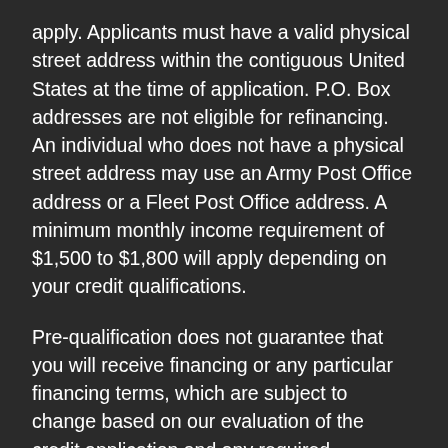apply. Applicants must have a valid physical street address within the contiguous United States at the time of application. P.O. Box addresses are not eligible for refinancing. An individual who does not have a physical street address may use an Army Post Office address or a Fleet Post Office address. A minimum monthly income requirement of $1,500 to $1,800 will apply depending on your credit qualifications.
Pre-qualification does not guarantee that you will receive financing or any particular financing terms, which are subject to change based on our evaluation of the credit application and any required documents.
Your pre-qualification expires 30 days from the date your pre-qualification application is received. You may use your pre-qualification on the expiration date, but not on any